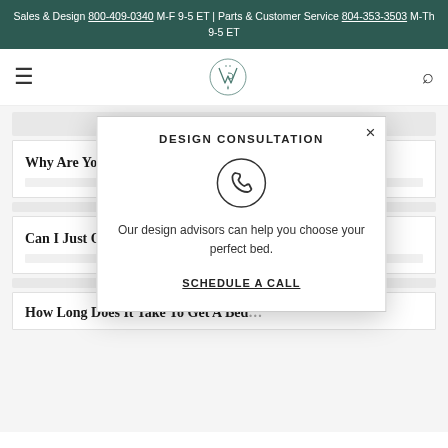Sales & Design 800-409-0340 M-F 9-5 ET | Parts & Customer Service 804-353-3503 M-Th 9-5 ET
[Figure (logo): Brand logo: stylized VB monogram in serif style with decorative flourish]
Why Are You…
Can I Just Or…
[Figure (infographic): Design Consultation modal popup with phone icon, text 'Our design advisors can help you choose your perfect bed.' and a 'SCHEDULE A CALL' link]
How Long Does It Take To Get A Bed…